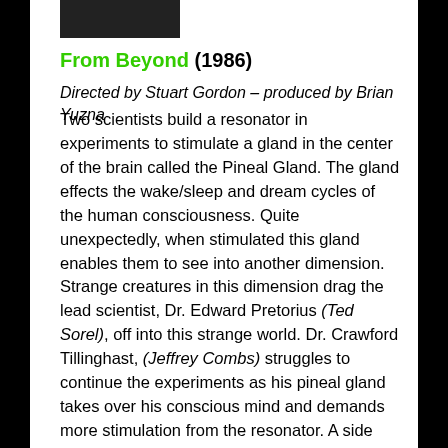[Figure (photo): Small dark image at top of page, appears to be a movie still]
From Beyond (1986)
Directed by Stuart Gordon – produced by Brian Yuzna
Two scientists build a resonator in experiments to stimulate a gland in the center of the brain called the Pineal Gland. The gland effects the wake/sleep and dream cycles of the human consciousness. Quite unexpectedly, when stimulated this gland enables them to see into another dimension. Strange creatures in this dimension drag the lead scientist, Dr. Edward Pretorius (Ted Sorel), off into this strange world. Dr. Crawford Tillinghast, (Jeffrey Combs) struggles to continue the experiments as his pineal gland takes over his conscious mind and demands more stimulation from the resonator. A side effect of this stimulation causes intense sexual energy, mostly provided by Barbara Crompton as Dr. Katherine McMichaels. Dr. Pretorius comes back as a shape-shifting monster determined to swallow Katherine whole for the ultimate pleasurable experience. This is gory, grotesque, weird and bizarre, just what you would expect from a Gordon/Yuzna collaboration.